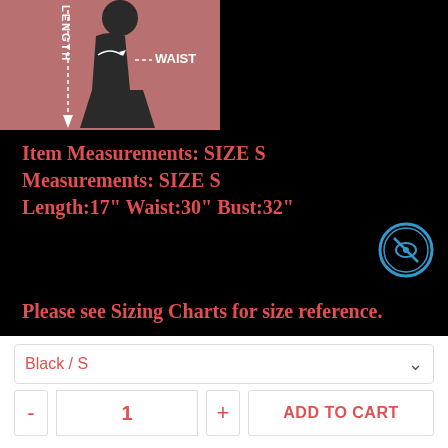[Figure (illustration): Clothing size measurement diagram on a rose/mauve background showing a dark dress figure with arrows indicating LENGTH (vertical dashed arrow) and WAIST (horizontal dashed line with curved arrow around waist)]
Item Measurements: SIZE S
Measurements: SIZE S
Length:17" Waist:30" Bust:32"
[Figure (illustration): Blue circular icon with a crossed-out eye symbol (privacy/hide icon)]
Please see  Sizing Charts  for size reference.
[Figure (infographic): Three red circular/shield badge icons: DISCREET, 100% SATISFACTION, 100% SECURE ONLINE]
[Figure (illustration): Pink/salmon circular back-to-top arrow button]
Black / S
1
ADD TO CART